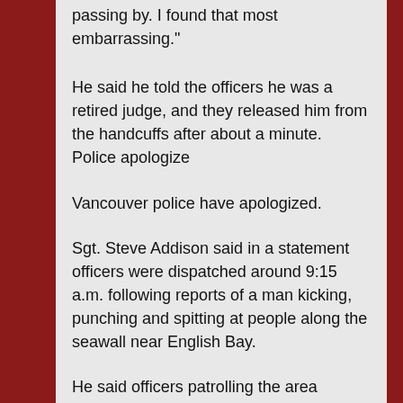passing by. I found that most embarrassing."
He said he told the officers he was a retired judge, and they released him from the handcuffs after about a minute.
Police apologize
Vancouver police have apologized.
Sgt. Steve Addison said in a statement officers were dispatched around 9:15 a.m. following reports of a man kicking, punching and spitting at people along the seawall near English Bay.
He said officers patrolling the area noticed a man resembling the description of the suspect and "briefly detained him to investigate," handcuffing him given the violent nature of the reported incidents.